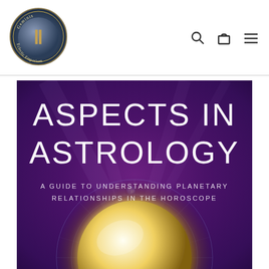[Figure (logo): Geminis Eclectic Emporium circular logo with Gemini symbol on aged medallion background]
[Figure (illustration): Book cover for 'Aspects in Astrology: A Guide to Understanding Planetary Relationships in the Horoscope' with purple background and glowing astrological orb]
ASPECTS IN ASTROLOGY
A GUIDE TO UNDERSTANDING PLANETARY RELATIONSHIPS IN THE HOROSCOPE